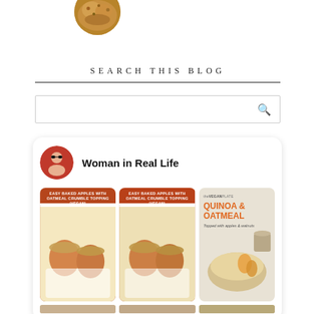[Figure (photo): Circular cropped photo of food (baked crumble dish) at top of page]
SEARCH THIS BLOG
[Figure (screenshot): Search input box with magnifying glass icon]
[Figure (screenshot): Pinterest-style card showing 'Woman in Real Life' with avatar photo and a grid of food images: Easy Baked Apples with Oatmeal Crumble Topping (Vegan) x2, and Vegan Plate Quinoa & Oatmeal topped with apples & walnuts]